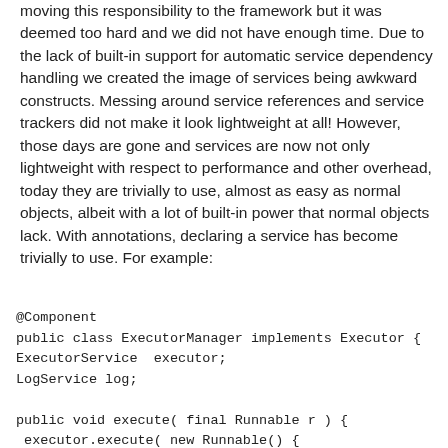moving this responsibility to the framework but it was deemed too hard and we did not have enough time. Due to the lack of built-in support for automatic service dependency handling we created the image of services being awkward constructs. Messing around service references and service trackers did not make it look lightweight at all! However, those days are gone and services are now not only lightweight with respect to performance and other overhead, today they are trivially to use, almost as easy as normal objects, albeit with a lot of built-in power that normal objects lack. With annotations, declaring a service has become trivially to use. For example: